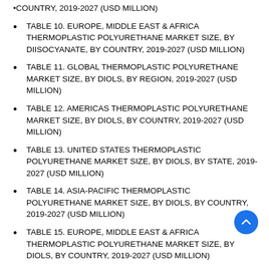COUNTRY, 2019-2027 (USD MILLION)
TABLE 10. EUROPE, MIDDLE EAST & AFRICA THERMOPLASTIC POLYURETHANE MARKET SIZE, BY DIISOCYANATE, BY COUNTRY, 2019-2027 (USD MILLION)
TABLE 11. GLOBAL THERMOPLASTIC POLYURETHANE MARKET SIZE, BY DIOLS, BY REGION, 2019-2027 (USD MILLION)
TABLE 12. AMERICAS THERMOPLASTIC POLYURETHANE MARKET SIZE, BY DIOLS, BY COUNTRY, 2019-2027 (USD MILLION)
TABLE 13. UNITED STATES THERMOPLASTIC POLYURETHANE MARKET SIZE, BY DIOLS, BY STATE, 2019-2027 (USD MILLION)
TABLE 14. ASIA-PACIFIC THERMOPLASTIC POLYURETHANE MARKET SIZE, BY DIOLS, BY COUNTRY, 2019-2027 (USD MILLION)
TABLE 15. EUROPE, MIDDLE EAST & AFRICA THERMOPLASTIC POLYURETHANE MARKET SIZE, BY DIOLS, BY COUNTRY, 2019-2027 (USD MILLION)
TABLE 16. GLOBAL THERMOPLASTIC POLYURETHANE